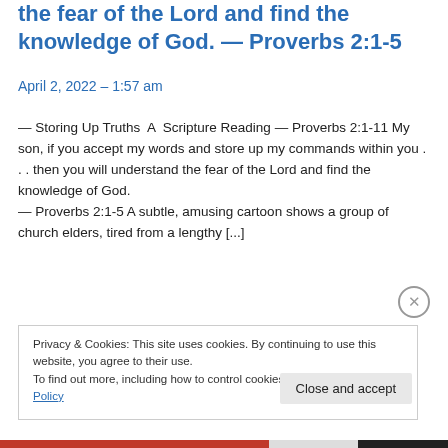the fear of the Lord and find the knowledge of God. — Proverbs 2:1-5
April 2, 2022 – 1:57 am
— Storing Up Truths  A  Scripture Reading — Proverbs 2:1-11 My son, if you accept my words and store up my commands within you . . . then you will understand the fear of the Lord and find the knowledge of God.
— Proverbs 2:1-5 A subtle, amusing cartoon shows a group of church elders, tired from a lengthy [...]
Privacy & Cookies: This site uses cookies. By continuing to use this website, you agree to their use.
To find out more, including how to control cookies, see here: Cookie Policy